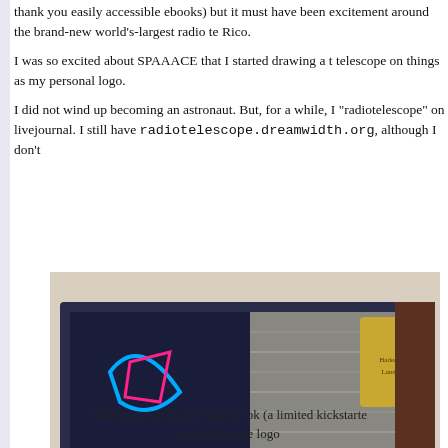thank you easily accessible ebooks) but it must have been excitement around the brand-new world's-largest radio te Rico.
I was so excited about SPAAACE that I started drawing a t telescope on things as my personal logo.
I did not wind up becoming an astronaut. But, for a while, I "radiotelescope" on livejournal. I still have radiotelescope.dreamwidth.org, although I don't
[Figure (photo): Photo of the Hadean Lands source code book lying on a surface, showing the spine with text 'Hadean Lands' and 'Andrew Plotkin', and the cover with colorful artwork.]
Hadean Lands source code book (a limited kickstarte radiotelescope logo